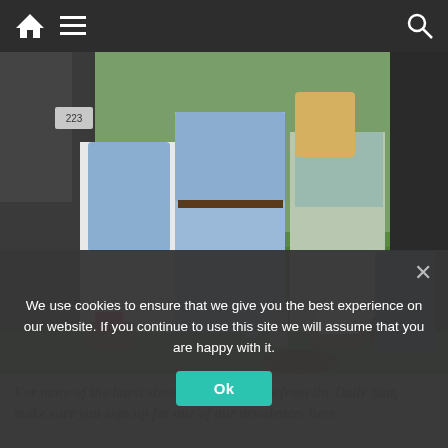Navigation bar with home, menu, and search icons
[Figure (photo): Photo of people sitting on grass at an outdoor event, one wearing white trousers and a blue checked shirt, another in a strapless dress]
For more of the latest showbiz and TV news from the Daily Star, make sure you sign up for one of our newsletters here.
endless media attention and is the factor in her decision not to continue the relationship; "I found it very difficult," she revealed a few years later.
We use cookies to ensure that we give you the best experience on our website. If you continue to use this site we will assume that you are happy with it.